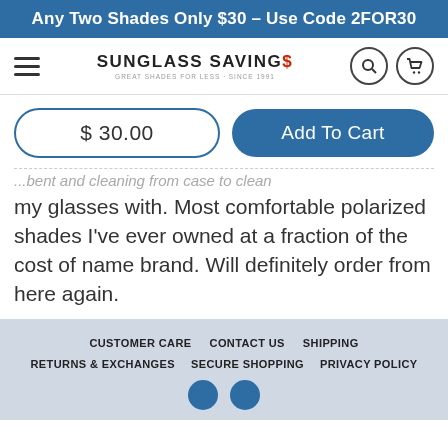Any Two Shades Only $30 – Use Code 2FOR30
[Figure (logo): Sunglass Savings logo with hamburger menu, search icon, and cart icon navigation bar]
$ 30.00
Add To Cart
...bent and cleaning from case to clean my glasses with. Most comfortable polarized shades I've ever owned at a fraction of the cost of name brand. Will definitely order from here again.
CUSTOMER CARE   CONTACT US   SHIPPING   RETURNS & EXCHANGES   SECURE SHOPPING   PRIVACY POLICY